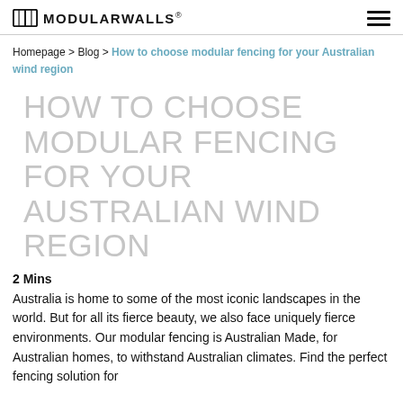MODULARWALLS®
Homepage > Blog > How to choose modular fencing for your Australian wind region
HOW TO CHOOSE MODULAR FENCING FOR YOUR AUSTRALIAN WIND REGION
2 Mins
Australia is home to some of the most iconic landscapes in the world. But for all its fierce beauty, we also face uniquely fierce environments. Our modular fencing is Australian Made, for Australian homes, to withstand Australian climates. Find the perfect fencing solution for